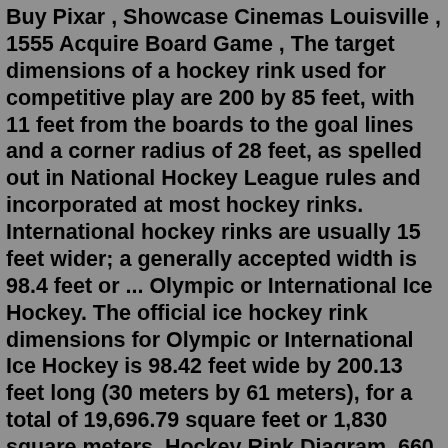Buy Pixar , Showcase Cinemas Louisville , 1555 Acquire Board Game , The target dimensions of a hockey rink used for competitive play are 200 by 85 feet, with 11 feet from the boards to the goal lines and a corner radius of 28 feet, as spelled out in National Hockey League rules and incorporated at most hockey rinks. International hockey rinks are usually 15 feet wider; a generally accepted width is 98.4 feet or ... Olympic or International Ice Hockey. The official ice hockey rink dimensions for Olympic or International Ice Hockey is 98.42 feet wide by 200.13 feet long (30 meters by 61 meters), for a total of 19,696.79 square feet or 1,830 square meters. Hockey Rink Diagram. 660 149 891 . E-mail: kancelaria@parafiamilowka.pl NHL Hockey Rink Dimensions. An NHL ice hockey rink is 200ft in length and 85ft in width. An ice hockey rink has rounded edges with a 28-foot corner radius. Since the red line represents the middle of the rink, it is an even 100ft from both ends of the rink. The blue lines are both 25ft from the red line. International Hockey